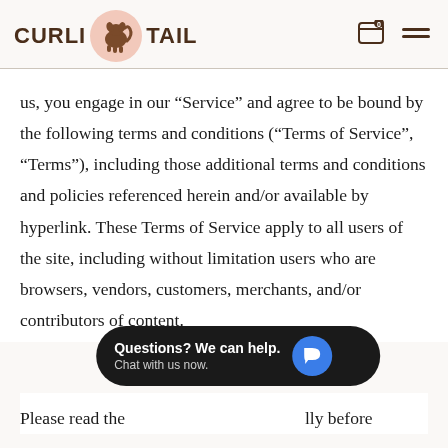[Figure (logo): Curli Tail logo with dog silhouette in a pink circle, flanked by the text CURLI and TAIL in bold brown serif letters]
us, you engage in our “Service” and agree to be bound by the following terms and conditions (“Terms of Service”, “Terms”), including those additional terms and conditions and policies referenced herein and/or available by hyperlink. These Terms of Service apply to all users of the site, including without limitation users who are browsers, vendors, customers, merchants, and/or contributors of content.
[Figure (screenshot): Chat popup widget with black rounded rectangle background reading 'Questions? We can help. Chat with us now.' with a blue speech bubble icon]
Please read these Terms carefully before